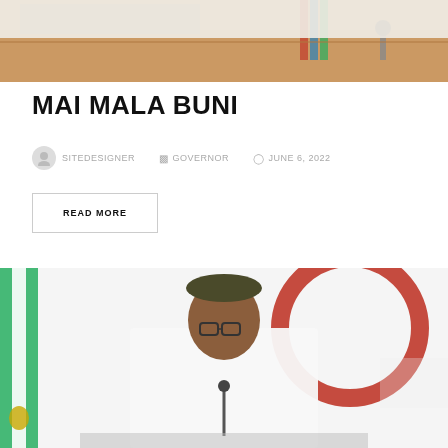[Figure (photo): Top of page: partial view of a meeting room with a conference table and flags]
MAI MALA BUNI
SITEDESIGNER   GOVERNOR   JUNE 6, 2022
READ MORE
[Figure (photo): Photo of a man in a traditional Nigerian cap and white outfit seated at a desk, with Nigerian flag and APC party logo in background]